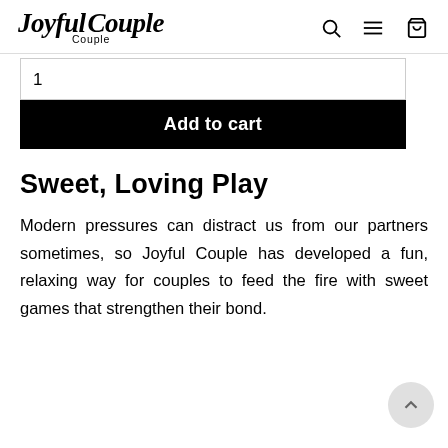Joyful Couple — navigation bar with search, menu, and cart icons
[Figure (screenshot): Quantity input field showing '1' and a black 'Add to cart' button]
Sweet, Loving Play
Modern pressures can distract us from our partners sometimes, so Joyful Couple has developed a fun, relaxing way for couples to feed the fire with sweet games that strengthen their bond.